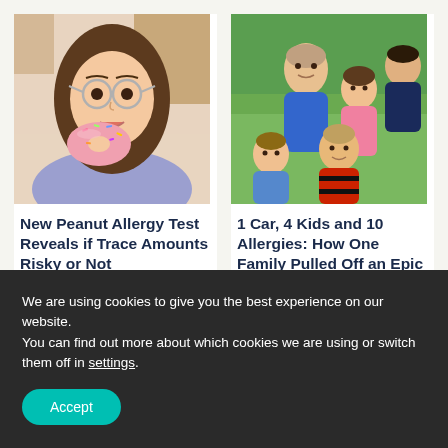[Figure (photo): Young girl with glasses eating a pink frosted donut with sprinkles in a kitchen]
New Peanut Allergy Test Reveals if Trace Amounts Risky or Not
[Figure (photo): A man with four children sitting together on grass outdoors, smiling at camera]
1 Car, 4 Kids and 10 Allergies: How One Family Pulled Off an Epic Road Trip
We are using cookies to give you the best experience on our website.
You can find out more about which cookies we are using or switch them off in settings.
Accept